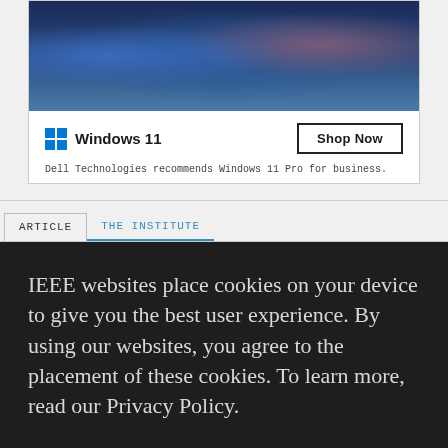[Figure (screenshot): Windows 11 advertisement banner showing a woman with a child and monitors displaying Windows 11. Contains Windows 11 logo, 'Shop Now' button, and tagline 'Dell Technologies recommends Windows 11 Pro for business.']
ARTICLE
THE INSTITUTE
IEEE websites place cookies on your device to give you the best user experience. By using our websites, you agree to the placement of these cookies. To learn more, read our Privacy Policy.
ACCEPT & CLOSE
VIEW PRIVACY POLICY